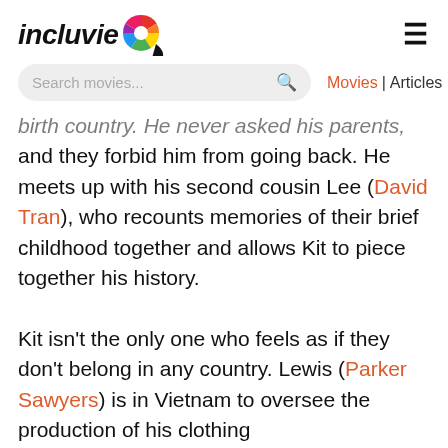incluvie [logo]
Search movies...  Movies | Articles
birth country. He never asked his parents, and they forbid him from going back. He meets up with his second cousin Lee (David Tran), who recounts memories of their brief childhood together and allows Kit to piece together his history.
Kit isn't the only one who feels as if they don't belong in any country. Lewis (Parker Sawyers) is in Vietnam to oversee the production of his clothing